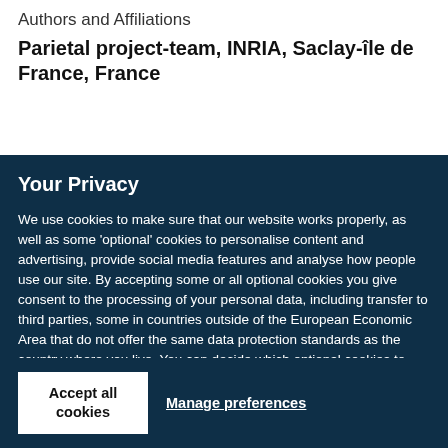Authors and Affiliations
Parietal project-team, INRIA, Saclay-île de France, France
Your Privacy
We use cookies to make sure that our website works properly, as well as some 'optional' cookies to personalise content and advertising, provide social media features and analyse how people use our site. By accepting some or all optional cookies you give consent to the processing of your personal data, including transfer to third parties, some in countries outside of the European Economic Area that do not offer the same data protection standards as the country where you live. You can decide which optional cookies to accept by clicking on 'Manage Settings', where you can also find more information about how your personal data is processed. Further information can be found in our privacy policy.
Accept all cookies
Manage preferences